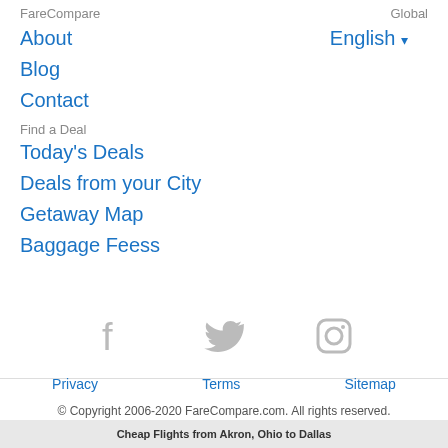FareCompare
Global
About
English ▾
Blog
Contact
Find a Deal
Today's Deals
Deals from your City
Getaway Map
Baggage Feess
[Figure (illustration): Social media icons: Facebook, Twitter, Instagram (gray)]
Privacy   Terms   Sitemap
© Copyright 2006-2020 FareCompare.com. All rights reserved.
Cheap Flights from Akron, Ohio to Dallas